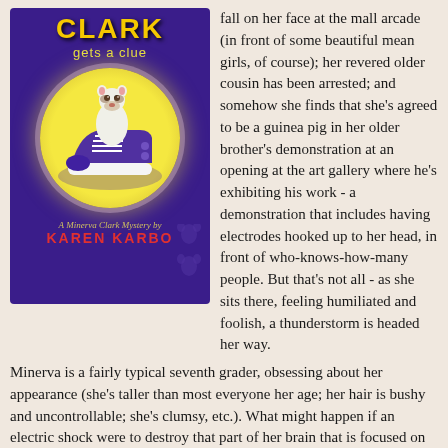[Figure (illustration): Book cover of 'Clark Gets a Clue' - A Minerva Clark Mystery by Karen Karbo. Purple background with yellow title text, a ferret sitting in a purple sneaker on a glowing yellow circle.]
fall on her face at the mall arcade (in front of some beautiful mean girls, of course); her revered older cousin has been arrested; and somehow she finds that she's agreed to be a guinea pig in her older brother's demonstration at an opening at the art gallery where he's exhibiting his work - a demonstration that includes having electrodes hooked up to her head, in front of who-knows-how-many people. But that's not all - as she sits there, feeling humiliated and foolish, a thunderstorm is headed her way.
Minerva is a fairly typical seventh grader, obsessing about her appearance (she's taller than most everyone her age; her hair is bushy and uncontrollable; she's clumsy, etc.). What might happen if an electric shock were to destroy that part of her brain that is focused on adolescent self-loathing?